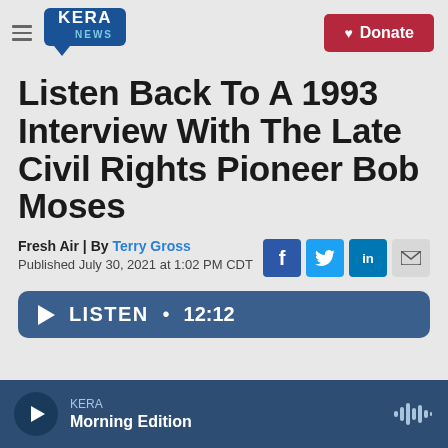KERA NEWS | Donate
Listen Back To A 1993 Interview With The Late Civil Rights Pioneer Bob Moses
Fresh Air | By Terry Gross
Published July 30, 2021 at 1:02 PM CDT
LISTEN • 12:12
KERA
Morning Edition